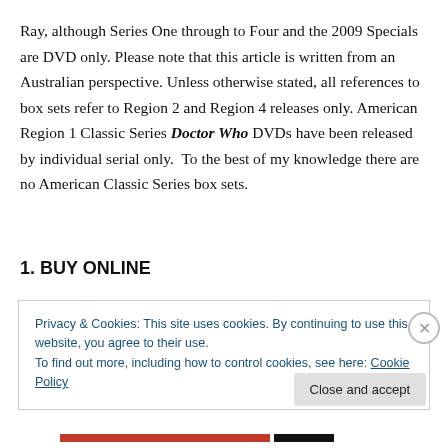Ray, although Series One through to Four and the 2009 Specials are DVD only. Please note that this article is written from an Australian perspective. Unless otherwise stated, all references to box sets refer to Region 2 and Region 4 releases only. American Region 1 Classic Series Doctor Who DVDs have been released by individual serial only.  To the best of my knowledge there are no American Classic Series box sets.
1. BUY ONLINE
Privacy & Cookies: This site uses cookies. By continuing to use this website, you agree to their use.
To find out more, including how to control cookies, see here: Cookie Policy